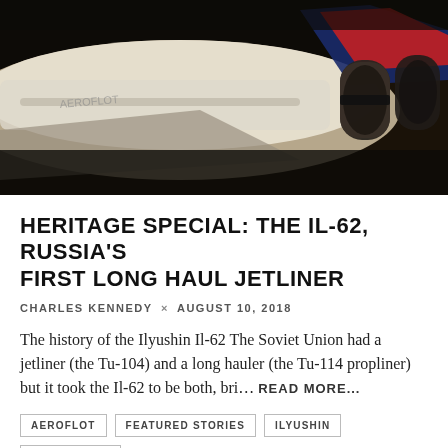[Figure (photo): Close-up photograph of an aircraft tail section and engines, dark moody lighting with warm tones. White fuselage visible with red and blue markings on tail fin. Engine nacelles visible on right side.]
HERITAGE SPECIAL: THE IL-62, RUSSIA'S FIRST LONG HAUL JETLINER
CHARLES KENNEDY × AUGUST 10, 2018
The history of the Ilyushin Il-62 The Soviet Union had a jetliner (the Tu-104) and a long hauler (the Tu-114 propliner) but it took the Il-62 to be both, bri… READ MORE...
AEROFLOT
FEATURED STORIES
ILYUSHIN
6 COMMENTS
[Figure (photo): Aerial or ground-level photograph of an airport or airfield with greenery, partially visible aircraft with red tail markings in background.]